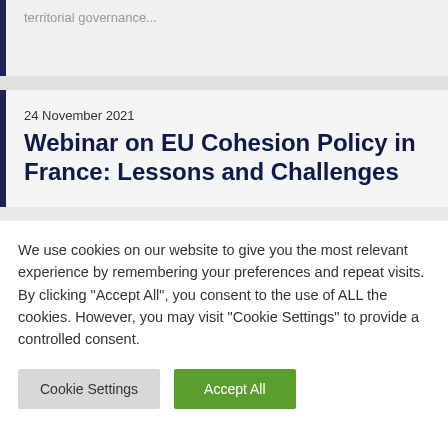territorial governance...
Webinar on EU Cohesion Policy in France: Lessons and Challenges
24 November 2021
We use cookies on our website to give you the most relevant experience by remembering your preferences and repeat visits. By clicking "Accept All", you consent to the use of ALL the cookies. However, you may visit "Cookie Settings" to provide a controlled consent.